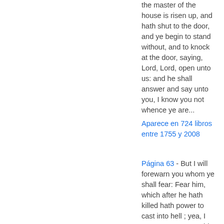the master of the house is risen up, and hath shut to the door, and ye begin to stand without, and to knock at the door, saying, Lord, Lord, open unto us: and he shall answer and say unto you, I know you not whence ye are...
Aparece en 724 libros entre 1755 y 2008
Página 63 - But I will forewarn you whom ye shall fear: Fear him, which after he hath killed hath power to cast into hell ; yea, I say unto you, Fear him.
Aparece en 888 libros entre 1714 y 2008